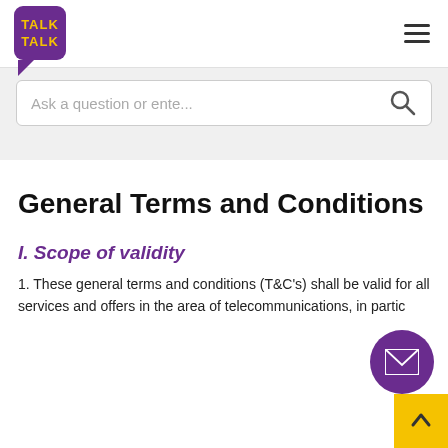[Figure (logo): TalkTalk logo - purple rounded speech bubble shape with yellow TALK TALK text]
[Figure (other): Hamburger menu icon (three horizontal lines)]
[Figure (other): Search bar with placeholder text 'Ask a question or ente...' and search magnifying glass icon]
General Terms and Conditions
I. Scope of validity
1. These general terms and conditions (T&C's) shall be valid for all services and offers in the area of telecommunications, in partic
[Figure (other): Purple circular mail/envelope button overlay]
[Figure (other): Yellow scroll-to-top arrow button]